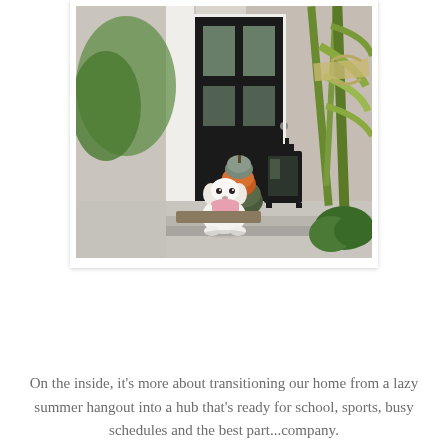[Figure (photo): A small white fluffy dog sitting on a front porch step decorated for fall, with stacked pumpkins (grey, orange, dark green) behind it, a black metal lantern, corn stalks with a burlap bow, and green shrubs. The porch has a black front door with glass panels and white trim.]
On the inside, it's more about transitioning our home from a lazy summer hangout into a hub that's ready for school, sports, busy schedules and the best part...company.